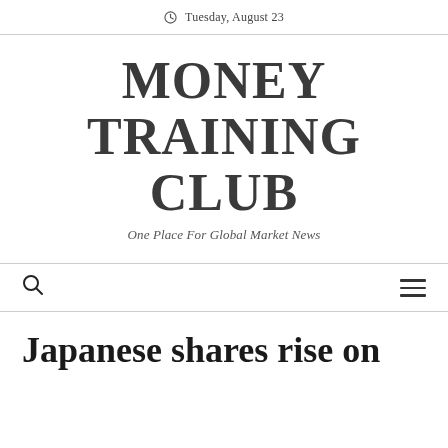Tuesday, August 23
MONEY TRAINING CLUB
One Place For Global Market News
Japanese shares rise on